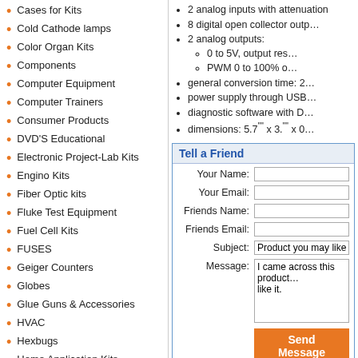Cases for Kits
Cold Cathode lamps
Color Organ Kits
Components
Computer Equipment
Computer Trainers
Consumer Products
DVD'S Educational
Electronic Project-Lab Kits
Engino Kits
Fiber Optic kits
Fluke Test Equipment
Fuel Cell Kits
FUSES
Geiger Counters
Globes
Glue Guns & Accessories
HVAC
Hexbugs
Home Application Kits
Infrared-Laser Kits
Interface Systems-Programmers Kits
Invention Kits
Laser Kits-Infrared
Learn to Solder Kits
LED Kits
LEGO
Light Application-Domestic Kits
Magnifying Lamps
2 analog inputs with attenuation; 8 digital open collector outputs; 2 analog outputs: 0 to 5V, output resolution; PWM 0 to 100%; general conversion time: 2; power supply through USB; diagnostic software with D; dimensions: 5.7 x 3. x 0
Tell a Friend
Your Name: [input field]
Your Email: [input field]
Friends Name: [input field]
Friends Email: [input field]
Subject: Product you may like at Kl...
Message: I came across this product... like it.
[Send Message button]